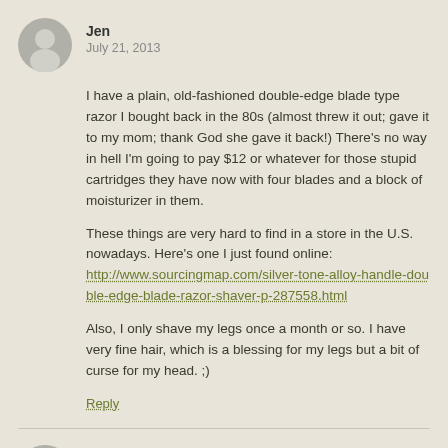Jen
July 21, 2013
I have a plain, old-fashioned double-edge blade type razor I bought back in the 80s (almost threw it out; gave it to my mom; thank God she gave it back!) There’s no way in hell I’m going to pay $12 or whatever for those stupid cartridges they have now with four blades and a block of moisturizer in them.
These things are very hard to find in a store in the U.S. nowadays. Here’s one I just found online: http://www.sourcingmap.com/silver-tone-alloy-handle-double-edge-blade-razor-shaver-p-287558.html
Also, I only shave my legs once a month or so. I have very fine hair, which is a blessing for my legs but a bit of curse for my head. ;)
Reply
Blondeintellect
January 29, 2020